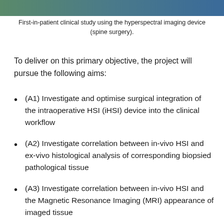[Figure (photo): Top strip showing hyperspectral imaging device used in spine surgery clinical study — cropped photographic image strip]
First-in-patient clinical study using the hyperspectral imaging device (spine surgery).
To deliver on this primary objective, the project will pursue the following aims:
(A1) Investigate and optimise surgical integration of the intraoperative HSI (iHSI) device into the clinical workflow
(A2) Investigate correlation between in-vivo HSI and ex-vivo histological analysis of corresponding biopsied pathological tissue
(A3) Investigate correlation between in-vivo HSI and the Magnetic Resonance Imaging (MRI) appearance of imaged tissue
(A4) Investigate the accuracy of the iHSI device to differentiate tumour, normal tissue, nerves and